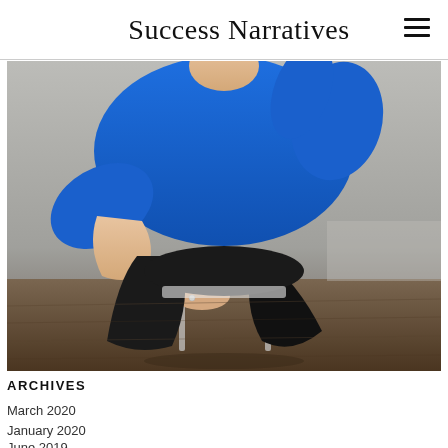Success Narratives
[Figure (photo): Woman wearing a bright blue top and black pants, seated/crouching on a clear stool against a gray wall with hardwood floor.]
ARCHIVES
March 2020
January 2020
June 2019